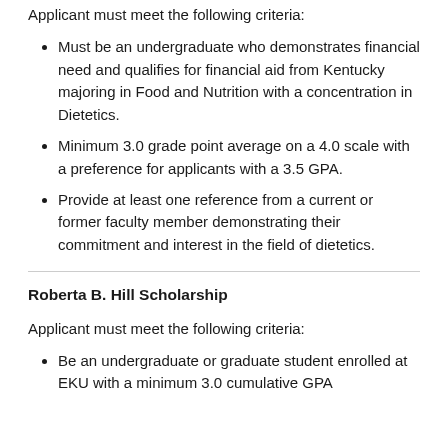Applicant must meet the following criteria:
Must be an undergraduate who demonstrates financial need and qualifies for financial aid from Kentucky majoring in Food and Nutrition with a concentration in Dietetics.
Minimum 3.0 grade point average on a 4.0 scale with a preference for applicants with a 3.5 GPA.
Provide at least one reference from a current or former faculty member demonstrating their commitment and interest in the field of dietetics.
Roberta B. Hill Scholarship
Applicant must meet the following criteria:
Be an undergraduate or graduate student enrolled at EKU with a minimum 3.0 cumulative GPA